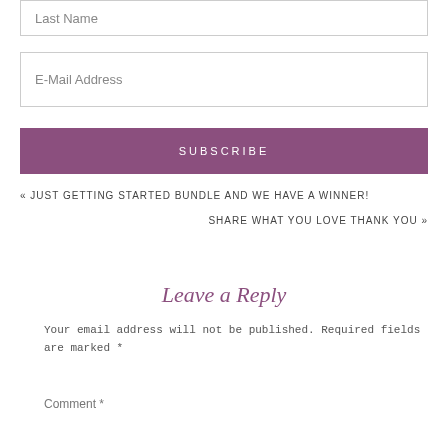Last Name
E-Mail Address
SUBSCRIBE
« JUST GETTING STARTED BUNDLE AND WE HAVE A WINNER!
SHARE WHAT YOU LOVE THANK YOU »
Leave a Reply
Your email address will not be published. Required fields are marked *
Comment *